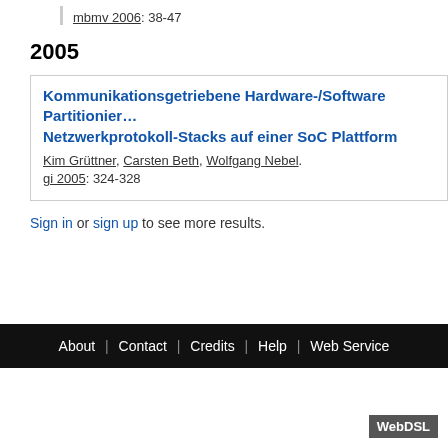mbmv 2006: 38-47
2005
Kommunikationsgetriebene Hardware-/Software Partitionierung von Netzwerkprotokoll-Stacks auf einer SoC Plattform
Kim Grüttner, Carsten Beth, Wolfgang Nebel.
gi 2005: 324-328
Sign in or sign up to see more results.
About | Contact | Credits | Help | Web Service
WebDSL